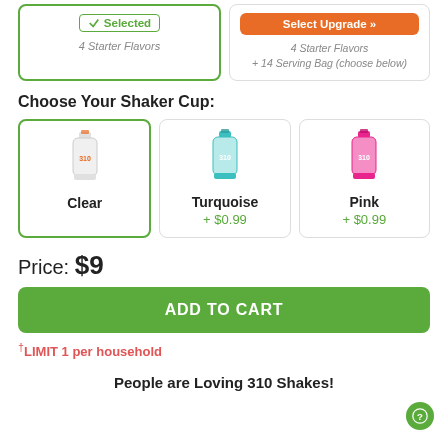[Figure (screenshot): Two option cards at top: one selected (green border) showing '4 Starter Flavors', one upgrade option with orange button showing '4 Starter Flavors + 14 Serving Bag']
Choose Your Shaker Cup:
[Figure (screenshot): Three shaker cup options: Clear (selected, green border), Turquoise (+$0.99), Pink (+$0.99)]
Price: $9
ADD TO CART
†LIMIT 1 per household
People are Loving 310 Shakes!